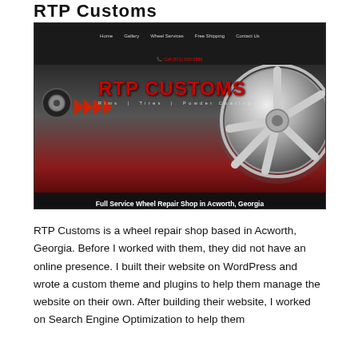RTP Customs
[Figure (screenshot): Screenshot of RTP Customs website homepage showing navigation bar with Home, Gallery, Wheel Services, Free Shipping, Contact Us links, phone number Call (571) 500-5886, a large chrome wheel graphic on dark red gradient background, RTP CUSTOMS logo in red with tagline 'Rims | Tires | Powder Coating', and footer text 'Full Service Wheel Repair Shop in Acworth, Georgia']
RTP Customs is a wheel repair shop based in Acworth, Georgia. Before I worked with them, they did not have an online presence. I built their website on WordPress and wrote a custom theme and plugins to help them manage the website on their own. After building their website, I worked on Search Engine Optimization to help them